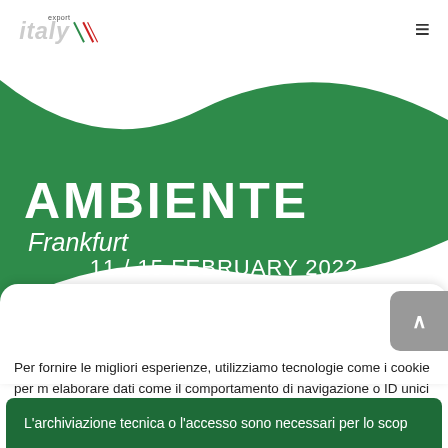Italy Export - Navigation header with logo and hamburger menu
[Figure (logo): Italy Export logo with stylized text 'italy' and diagonal stripes in green, white, red (Italian flag colors) with 'export' text above]
AMBIENTE
Frankfurt
11 / 15 FEBRUARY 2022
Per fornire le migliori esperienze, utilizziamo tecnologie come i cookie per m elaborare dati come il comportamento di navigazione o ID unici su questo s
L'archiviazione tecnica o l'accesso sono necessari per lo scop